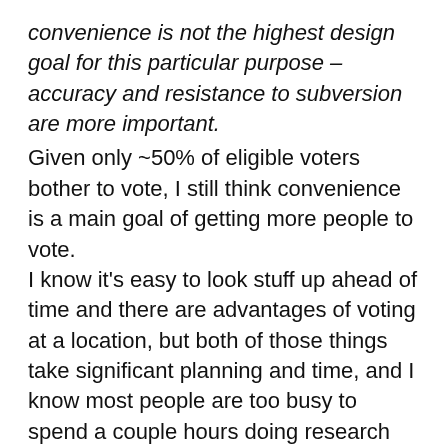convenience is not the highest design goal for this particular purpose – accuracy and resistance to subversion are more important. Given only ~50% of eligible voters bother to vote, I still think convenience is a main goal of getting more people to vote. I know it's easy to look stuff up ahead of time and there are advantages of voting at a location, but both of those things take significant planning and time, and I know most people are too busy to spend a couple hours doing research weeks ahead of an election and many have trouble taking time off work to hit the polling place. In Oregon, I've never actually mailed my ballot in using the postal service, you can drop them in